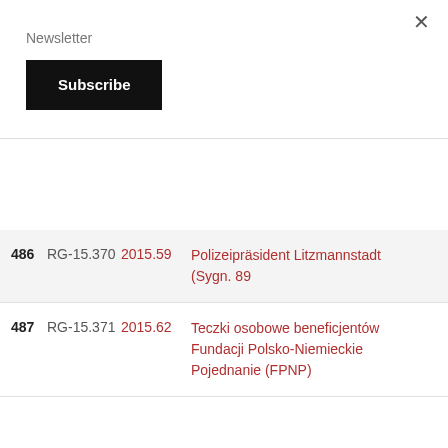Newsletter
Subscribe
×
| # | ID | Year | Description |
| --- | --- | --- | --- |
| 486 | RG-15.370 | 2015.59 | Polizeipräsident Litzmannstadt (Sygn. 89... |
| 487 | RG-15.371 | 2015.62 | Teczki osobowe beneficjentów Fundacji Polsko-Niemieckie Pojednanie (FPNP) |